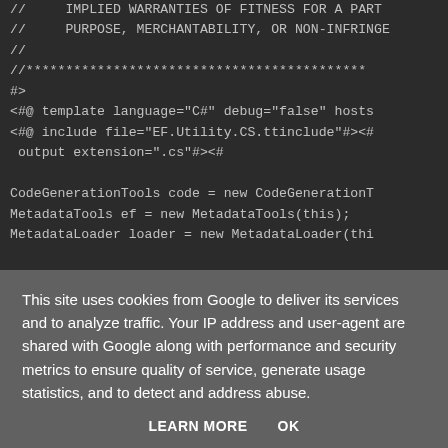// IMPLIED WARRANTIES OF FITNESS FOR A PART
// PURPOSE, MERCHANTABILITY, OR NON-INFRING
//
//*******************************************
#>
<#@ template language="C#" debug="false" hosts
<#@ include file="EF.Utility.CS.ttinclude"#><#
 output extension=".cs"#><#

CodeGenerationTools code = new CodeGenerationT
MetadataTools ef = new MetadataTools(this);
MetadataLoader loader = new MetadataLoader(thi
This site uses cookies from Google to deliver its services and to analyze traffic. Your IP address and user-agent are shared with Google along with performance and security metrics to ensure quality of service, generate usage statistics, and to detect and address abuse.

LEARN MORE   OK